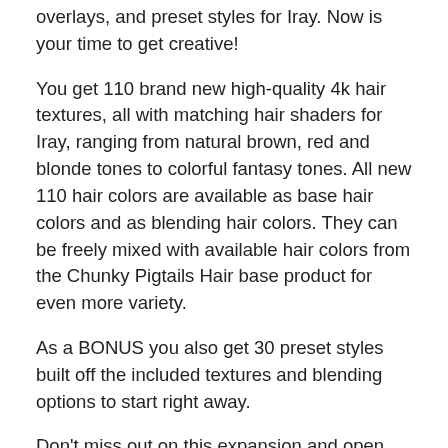overlays, and preset styles for Iray. Now is your time to get creative!
You get 110 brand new high-quality 4k hair textures, all with matching hair shaders for Iray, ranging from natural brown, red and blonde tones to colorful fantasy tones. All new 110 hair colors are available as base hair colors and as blending hair colors. They can be freely mixed with available hair colors from the Chunky Pigtails Hair base product for even more variety.
As a BONUS you also get 30 preset styles built off the included textures and blending options to start right away.
Don't miss out on this expansion and open the door to thousands of new hair color combinations – get Texture Expansion for Chunky Pigtails for your library!
Product Notes